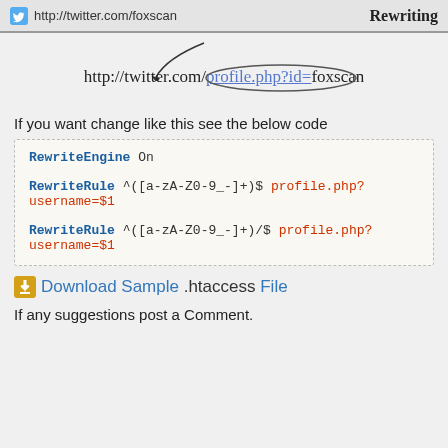[Figure (screenshot): Browser address bar showing http://twitter.com/foxscan with 'Rewriting' label on the right]
[Figure (illustration): URL rewriting diagram: http://twitter.com/ followed by circled 'profile.php?id' then '=foxscan', with an arrow from the browser bar pointing to the circled portion]
If you want change like this see the below code
RewriteEngine On

RewriteRule ^([a-zA-Z0-9_-]+)$ profile.php?username=$1

RewriteRule ^([a-zA-Z0-9_-]+)/$ profile.php?username=$1
Download Sample .htaccess File
If any suggestions post a Comment.